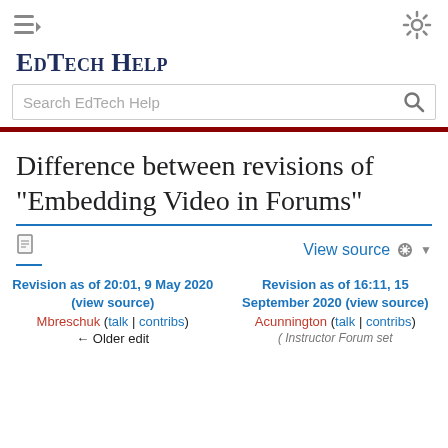EdTech Help
Search EdTech Help
Difference between revisions of "Embedding Video in Forums"
View source
Revision as of 20:01, 9 May 2020 (view source)
Mbreschuk (talk | contribs)
← Older edit
Revision as of 16:11, 15 September 2020 (view source)
Acunnington (talk | contribs)
(Instructor Forum set